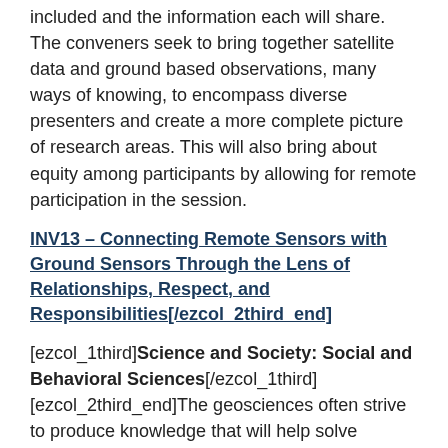included and the information each will share. The conveners seek to bring together satellite data and ground based observations, many ways of knowing, to encompass diverse presenters and create a more complete picture of research areas. This will also bring about equity among participants by allowing for remote participation in the session.
INV13 – Connecting Remote Sensors with Ground Sensors Through the Lens of Relationships, Respect, and Responsibilities[/ezcol_2third_end]
[ezcol_1third]Science and Society: Social and Behavioral Sciences[/ezcol_1third] [ezcol_2third_end]The geosciences often strive to produce knowledge that will help solve pressing societal issues. Despite this motivation, this knowledge is not used in decisions as much as is